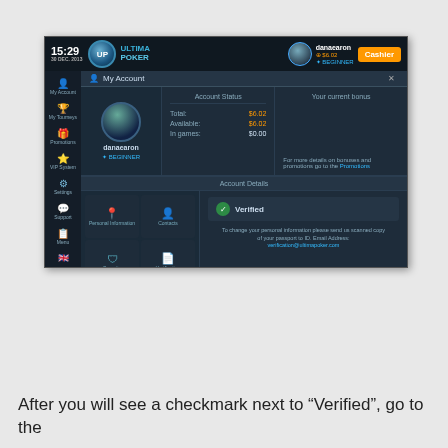[Figure (screenshot): Screenshot of Ultima Poker desktop application showing My Account page with account status (Total: $6.02, Available: $6.02, In games: $0.00), Verified status with green checkmark, Personal Information, Contacts, Security, and Verification sections.]
After you will see a checkmark next to “Verified”, go to the